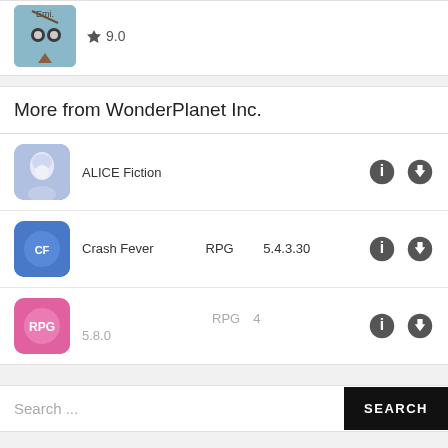[Figure (screenshot): Partial game app icon and score at top of page]
More from WonderPlanet Inc.
ALICE Fiction
Crash Fever　　　　RPG　　 5.4.3.30
RPG　4　　　　　　　　　 5.8.0
Search ...
Recent Posts